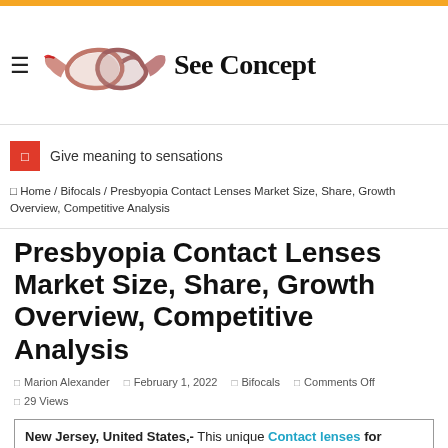See Concept — site header with logo and hamburger menu
Give meaning to sensations
Home / Bifocals / Presbyopia Contact Lenses Market Size, Share, Growth Overview, Competitive Analysis
Presbyopia Contact Lenses Market Size, Share, Growth Overview, Competitive Analysis
Marion Alexander | February 1, 2022 | Bifocals | Comments Off | 29 Views
New Jersey, United States,- This unique Contact lenses for presbyopia market The research study also presents important data on COVID-19